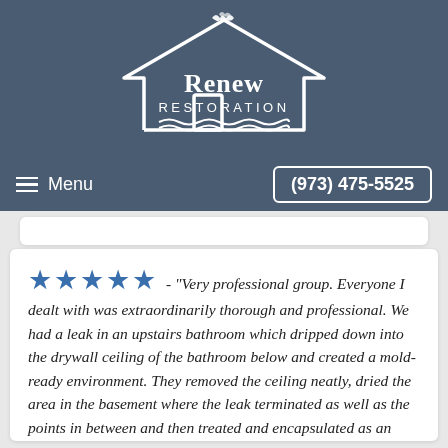[Figure (logo): Renew Restoration logo: white outline of house with flame and waves, text 'Renew RESTORATION' in white on dark blue background]
Menu   (973) 475-5525
★★★★★ - "Very professional group. Everyone I dealt with was extraordinarily thorough and professional. We had a leak in an upstairs bathroom which dripped down into the drywall ceiling of the bathroom below and created a mold-ready environment. They removed the ceiling neatly, dried the area in the basement where the leak terminated as well as the points in between and then treated and encapsulated as an extra safety measure. I informed